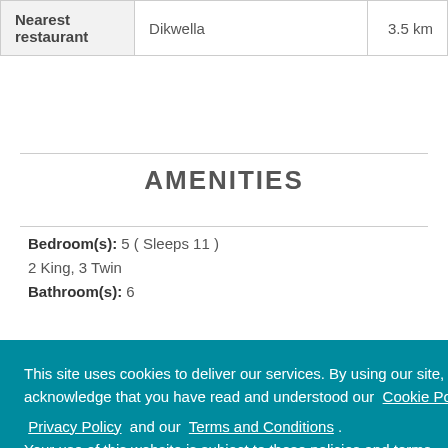|  |  |  |
| --- | --- | --- |
| Nearest restaurant | Dikwella | 3.5 km |
AMENITIES
Bedroom(s): 5 ( Sleeps 11 )
2 King, 3 Twin
Bathroom(s): 6
This site uses cookies to deliver our services. By using our site, you acknowledge that you have read and understood our Cookie Policy , Privacy Policy and our Terms and Conditions . Your use of this website is subject to these policies and terms.